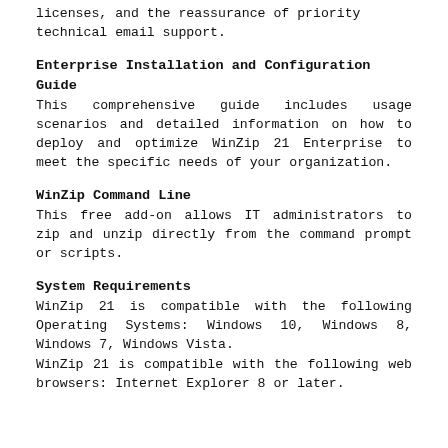licenses, and the reassurance of priority technical email support.
Enterprise Installation and Configuration Guide
This comprehensive guide includes usage scenarios and detailed information on how to deploy and optimize WinZip 21 Enterprise to meet the specific needs of your organization.
WinZip Command Line
This free add-on allows IT administrators to zip and unzip directly from the command prompt or scripts.
System Requirements
WinZip 21 is compatible with the following Operating Systems: Windows 10, Windows 8, Windows 7, Windows Vista.
WinZip 21 is compatible with the following web browsers: Internet Explorer 8 or later.